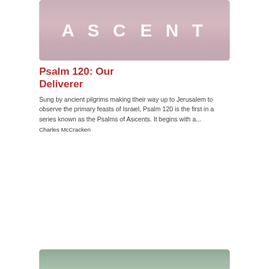[Figure (illustration): Watercolor-style banner image with dusty rose/pink and muted tones, with the word ASCENT in large white bold letters with wide letter-spacing]
Psalm 120: Our Deliverer
Sung by ancient pilgrims making their way up to Jerusalem to observe the primary feasts of Israel, Psalm 120 is the first in a series known as the Psalms of Ascents. It begins with a...
Charles McCracken
[Figure (illustration): Watercolor-style image in muted sage green tones, partial view at bottom of page]